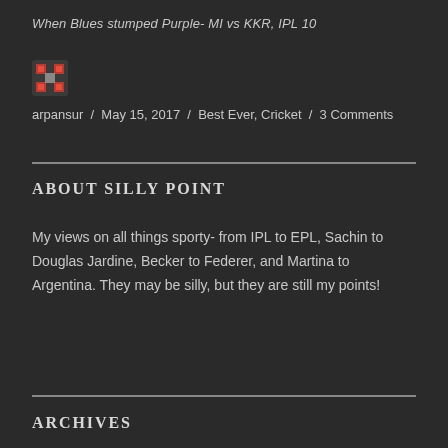When Blues stumped Purple- MI vs KKR, IPL 10
arpansur / May 15, 2017 / Best Ever, Cricket / 3 Comments
About Silly Point
My views on all things sporty- from IPL to EPL, Sachin to Douglas Jardine, Becker to Federer, and Martina to Argentina. They may be silly, but they are still my points!
Archives